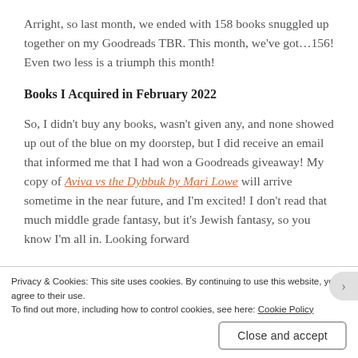Arright, so last month, we ended with 158 books snuggled up together on my Goodreads TBR. This month, we've got...156! Even two less is a triumph this month!
Books I Acquired in February 2022
So, I didn't buy any books, wasn't given any, and none showed up out of the blue on my doorstep, but I did receive an email that informed me that I had won a Goodreads giveaway! My copy of Aviva vs the Dybbuk by Mari Lowe will arrive sometime in the near future, and I'm excited! I don't read that much middle grade fantasy, but it's Jewish fantasy, so you know I'm all in. Looking forward
Privacy & Cookies: This site uses cookies. By continuing to use this website, you agree to their use.
To find out more, including how to control cookies, see here: Cookie Policy
Close and accept